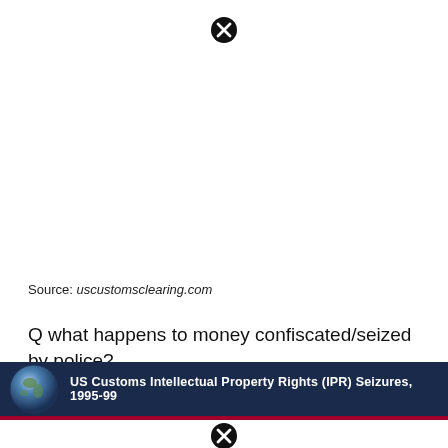[Figure (other): Close/X button icon at top center of page]
Source: uscustomsclearing.com
Q what happens to money confiscated/seized by police? You can just ignore the letter you were sent.
[Figure (screenshot): Banner for US Customs Intellectual Property Rights (IPR) Seizures, 1995-99 with globe image on dark navy background and a close/X button below on white with red border]
[Figure (other): Close/X button icon at bottom of banner]